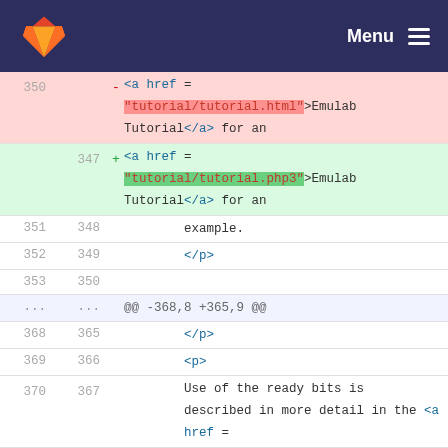GitLab — Menu
[Figure (screenshot): GitLab diff view showing HTML file changes: lines 350-372 with deletions (tutorial.html) and additions (tutorial.php3), context lines with example., </p>, <p>, Use of the ready bits... text, and another deletion block for tutorial.html and doc/tmcd.html references, followed by addition of tutorial.php3]